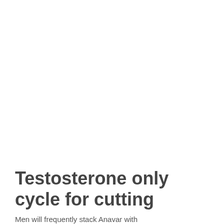Testosterone only cycle for cutting
Men will frequently stack Anavar with